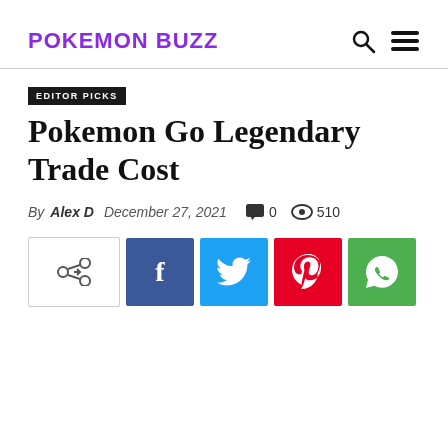POKEMON BUZZ
EDITOR PICKS
Pokemon Go Legendary Trade Cost
By Alex D  December 27, 2021  0  510
[Figure (other): Social share buttons: share, Facebook, Twitter, Pinterest, WhatsApp]